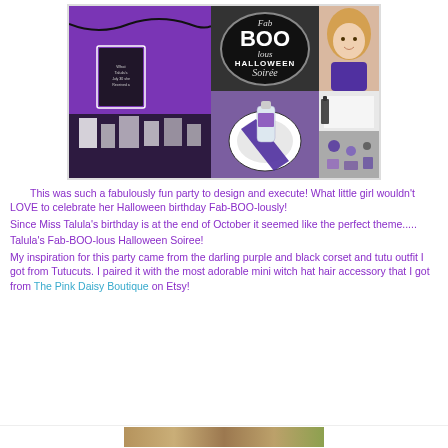[Figure (photo): Collage photo of a Fab-BOO-lous Halloween Soiree party setup with purple decorations, dessert table, ghost cake pops, and table settings. Center has oval logo reading 'Fab BOO lous Halloween Soiree'.]
This was such a fabulously fun party to design and execute!  What little girl wouldn't LOVE to celebrate her Halloween birthday Fab-BOO-lously!
Since Miss Talula's birthday is at the end of October it seemed like the perfect theme.....
Talula's Fab-BOO-lous Halloween Soiree!
My inspiration for this party came from the darling purple and black corset and tutu outfit I got from Tutucuts.  I paired it with the most adorable mini witch hat hair accessory that I got from The Pink Daisy Boutique on Etsy!
[Figure (photo): Partial bottom strip showing another party photo collage, cropped at page bottom.]